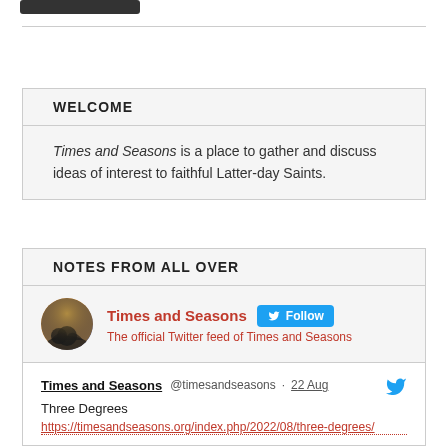[Figure (other): Dark rounded button/bar at top left]
WELCOME
Times and Seasons is a place to gather and discuss ideas of interest to faithful Latter-day Saints.
NOTES FROM ALL OVER
[Figure (other): Twitter profile widget showing Times and Seasons account with Follow button and profile description]
Times and Seasons @timesandseasons · 22 Aug
Three Degrees
https://timesandseasons.org/index.php/2022/08/three-degrees/